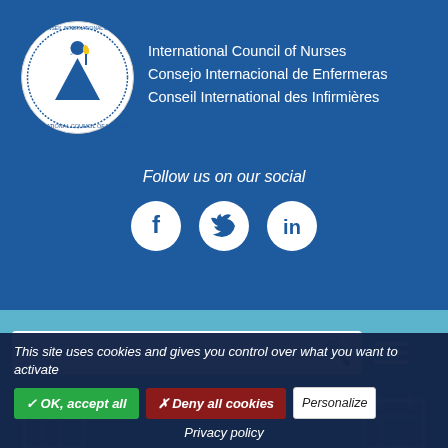[Figure (logo): International Council of Nurses circular logo with nursing figure and torch]
International Council of Nurses
Consejo Internacional de Enfermeras
Conseil International des Infirmières
Follow us on our social
[Figure (infographic): Social media icons: Facebook, Twitter, LinkedIn]
[Figure (screenshot): Search bar with magnifying glass icon and hamburger menu]
[Figure (infographic): Calendar icons on teal background]
This site uses cookies and gives you control over what you want to activate
✓ OK, accept all
✗ Deny all cookies
Personalize
Privacy policy